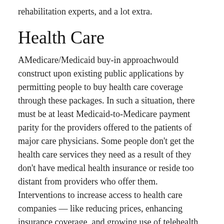rehabilitation experts, and a lot extra.
Health Care
AMedicare/Medicaid buy-in approachwould construct upon existing public applications by permitting people to buy health care coverage through these packages. In such a situation, there must be at least Medicaid-to-Medicare payment parity for the providers offered to the patients of major care physicians. Some people don't get the health care services they need as a result of they don't have medical health insurance or reside too distant from providers who offer them. Interventions to increase access to health care companies — like reducing prices, enhancing insurance coverage, and growing use of telehealth — may help more folks get the care they need. Across the world, investments in PHC enhance fairness and entry, health care efficiency, accountability of health methods, and